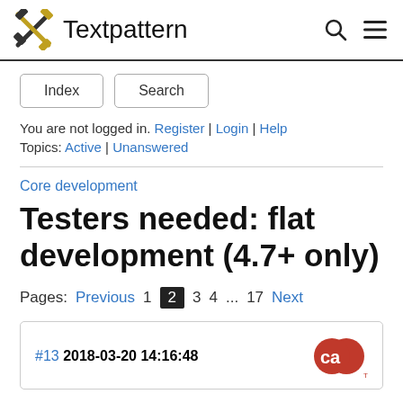Textpattern
Index
Search
You are not logged in. Register | Login | Help
Topics: Active | Unanswered
Core development
Testers needed: flat development (4.7+ only)
Pages: Previous 1 2 3 4 ... 17 Next
#13  2018-03-20 14:16:48